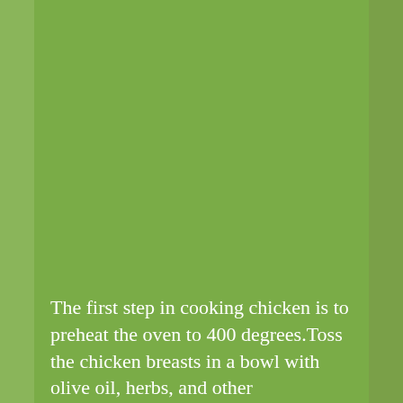The first step in cooking chicken is to preheat the oven to 400 degrees.Toss the chicken breasts in a bowl with olive oil, herbs, and other